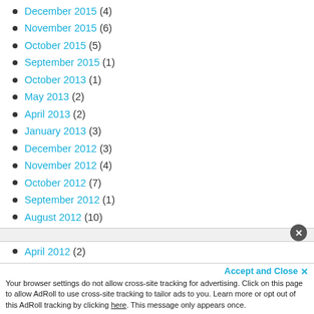December 2015 (4)
November 2015 (6)
October 2015 (5)
September 2015 (1)
October 2013 (1)
May 2013 (2)
April 2013 (2)
January 2013 (3)
December 2012 (3)
November 2012 (4)
October 2012 (7)
September 2012 (1)
August 2012 (10)
June 2012 (4)
April 2012 (2)
March 2012 (3)
February 2012 (4)
January 2012 (3)
Your browser settings do not allow cross-site tracking for advertising. Click on this page to allow AdRoll to use cross-site tracking to tailor ads to you. Learn more or opt out of this AdRoll tracking by clicking here. This message only appears once.